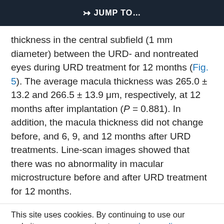⇒ JUMP TO…
thickness in the central subfield (1 mm diameter) between the URD- and nontreated eyes during URD treatment for 12 months (Fig. 5). The average macula thickness was 265.0 ± 13.2 and 266.5 ± 13.9 μm, respectively, at 12 months after implantation (P = 0.881). In addition, the macula thickness did not change before, and 6, 9, and 12 months after URD treatments. Line-scan images showed that there was no abnormality in macular microstructure before and after URD treatment for 12 months.
This site uses cookies. By continuing to use our website, you are agreeing to our privacy policy. Accept